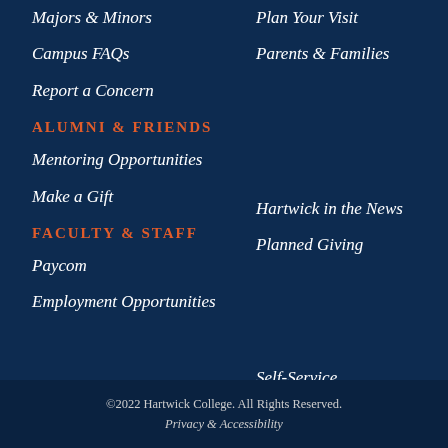Majors & Minors
Plan Your Visit
Campus FAQs
Parents & Families
Report a Concern
ALUMNI & FRIENDS
Mentoring Opportunities
Hartwick in the News
Make a Gift
Planned Giving
FACULTY & STAFF
Paycom
Self-Service
Employment Opportunities
©2022 Hartwick College. All Rights Reserved.
Privacy & Accessibility